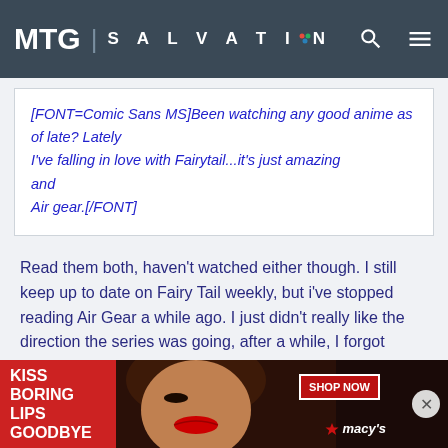MTG SALVATION
[FONT=Comic Sans MS]Been watching any good anime as of late? Lately
I've falling in love with Fairytail...it's just amazing and
Air gear.[/FONT]
Read them both, haven't watched either though. I still keep up to date on Fairy Tail weekly, but i've stopped reading Air Gear a while ago. I just didn't really like the direction the series was going, after a while, I forgot completely what the manga was about(other than the awesome rollerblade thingies).
[Figure (screenshot): Advertisement banner for Macy's: 'KISS BORING LIPS GOODBYE' with SHOP NOW button and Macy's star logo, featuring a woman's face with red lips on dark background with an X close button]